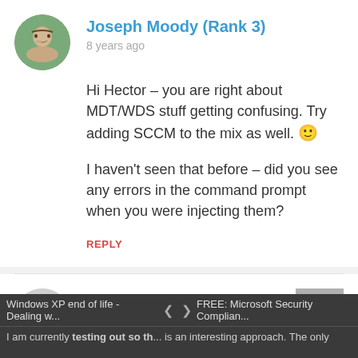Joseph Moody (Rank 3)
8 years ago
Hi Hector – you are right about MDT/WDS stuff getting confusing. Try adding SCCM to the mix as well. 🙂

I haven't seen that before – did you see any errors in the command prompt when you were injecting them?
REPLY
Andrew
8 years ago
Windows XP end of life - Dealing w... < > FREE: Microsoft Security Complian...
I am currently testing out so th... is an interesting approach. The only